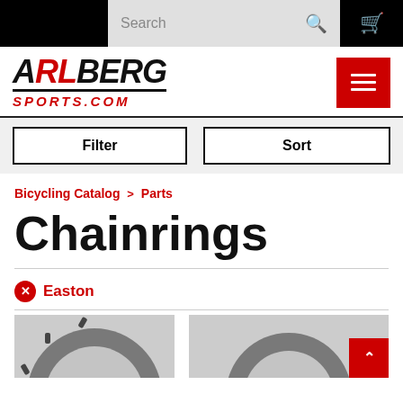[Figure (screenshot): Top navigation bar with search field and cart icon on black background]
[Figure (logo): Arlberg Sports.com logo in black and red with hamburger menu button]
Filter
Sort
Bicycling Catalog > Parts
Chainrings
✕ Easton
[Figure (photo): Partial view of two chainring product images at bottom of page]